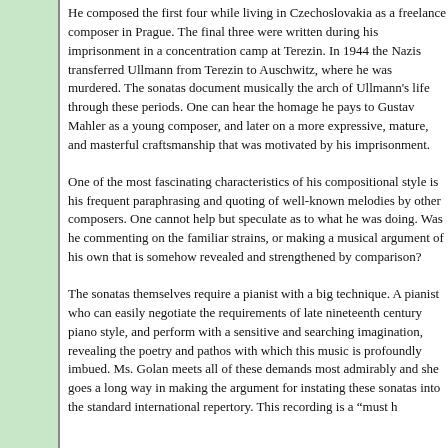He composed the first four while living in Czechoslovakia as a freelance composer in Prague. The final three were written during his imprisonment in a concentration camp at Terezin. In 1944 the Nazis transferred Ullmann from Terezin to Auschwitz, where he was murdered. The sonatas document musically the arch of Ullmann's life through these periods. One can hear the homage he pays to Gustav Mahler as a young composer, and later on a more expressive, mature, and masterful craftsmanship that was motivated by his imprisonment.
One of the most fascinating characteristics of his compositional style is his frequent paraphrasing and quoting of well-known melodies by other composers. One cannot help but speculate as to what he was doing. Was he commenting on the familiar strains, or making a musical argument of his own that is somehow revealed and strengthened by comparison?
The sonatas themselves require a pianist with a big technique. A pianist who can easily negotiate the requirements of late nineteenth century piano style, and perform with a sensitive and searching imagination, revealing the poetry and pathos with which this music is profoundly imbued. Ms. Golan meets all of these demands most admirably and she goes a long way in making the argument for instating these sonatas into the standard international repertory. This recording is a "must h